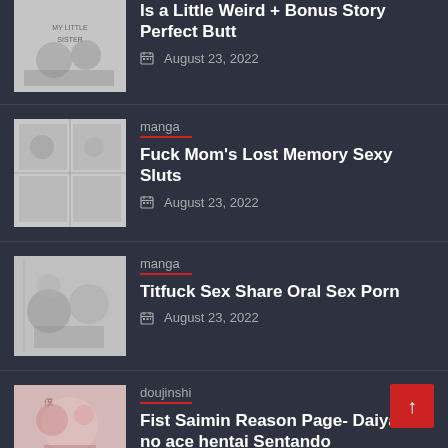Is a Little Weird + Bonus Story Perfect Butt — August 23, 2022
manga — Fuck Mom's Lost Memory Sexy Sluts — August 23, 2022
manga — Titfuck Sex Share Oral Sex Porn — August 23, 2022
doujinshi — Fist Saimin Reason Page- Daiya no ace hentai Sentando